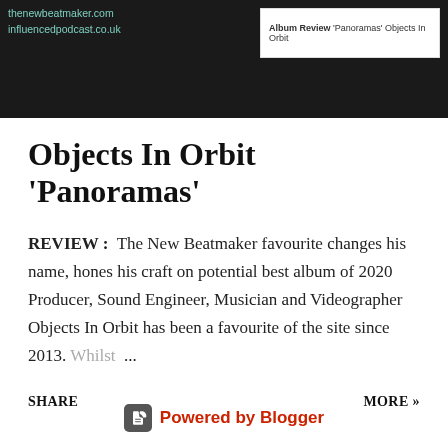[Figure (screenshot): Screenshot of a webpage header showing URLs thenewbeatmaker.com and influencedpodcast.co.uk on dark background, with a white inset card showing 'Album Review Panoramas Objects In Orbit']
Objects In Orbit 'Panoramas'
REVIEW :  The New Beatmaker favourite changes his name, hones his craft on potential best album of 2020 Producer, Sound Engineer, Musician and Videographer Objects In Orbit has been a favourite of the site since 2013. Whilst ...
SHARE
MORE »
Powered by Blogger